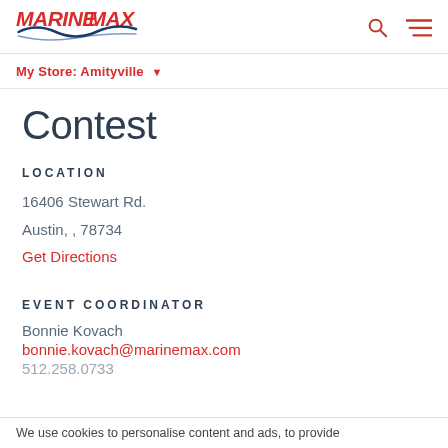MarineMax — My Store: Amityville
Contest
LOCATION
16406 Stewart Rd.
Austin, , 78734
Get Directions
EVENT COORDINATOR
Bonnie Kovach
bonnie.kovach@marinemax.com
512.258.0733
We use cookies to personalise content and ads, to provide